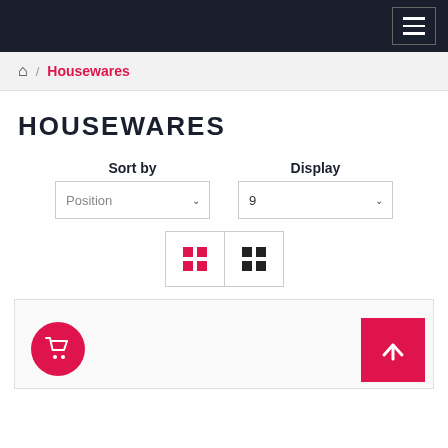Navigation bar with hamburger menu
Home / Housewares
HOUSEWARES
Sort by: Position | Display: 9
[Figure (screenshot): View toggle buttons: grid view and list view icons]
[Figure (screenshot): Product card area with red cart button and pink back-to-top button]